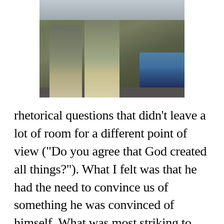[Figure (photo): Outdoor photograph showing two people standing on a street, with a car visible on the right side and buildings/vehicles in the background.]
rhetorical questions that didn’t leave a lot of room for a different point of view (“Do you agree that God created all things?”). What I felt was that he had the need to convince us of something he was convinced of himself. What was most striking to me was the similarity between the Chassidic Jews in Tsfat and this guy: